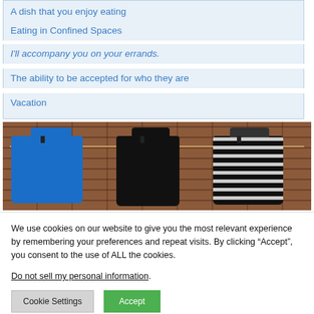A dish that you enjoy eating
Eating in Confined Spaces
I'll accompany you on your errands.
The ability to be accepted for who they are
Vacation
[Figure (photo): Three shirts (blue, black, and black-and-white striped) hanging on a clothesline in front of a red brick wall.]
We use cookies on our website to give you the most relevant experience by remembering your preferences and repeat visits. By clicking “Accept”, you consent to the use of ALL the cookies.
Do not sell my personal information.